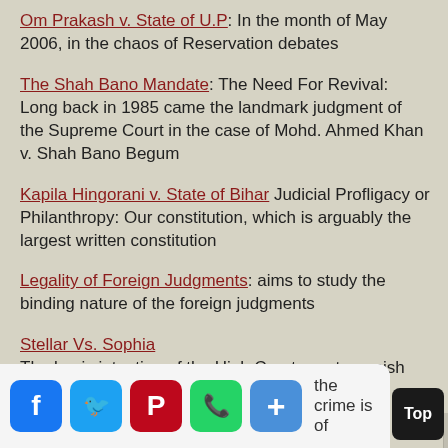Om Prakash v. State of U.P: In the month of May 2006, in the chaos of Reservation debates
The Shah Bano Mandate: The Need For Revival: Long back in 1985 came the landmark judgment of the Supreme Court in the case of Mohd. Ahmed Khan v. Shah Bano Begum
Kapila Hingorani v. State of Bihar Judicial Profligacy or Philanthropy: Our constitution, which is arguably the largest written constitution
Legality of Foreign Judgments: aims to study the binding nature of the foreign judgments
Stellar Vs. Sophia The basic intention of the High Court was to punish the guilty. You cannot punish the crime is of